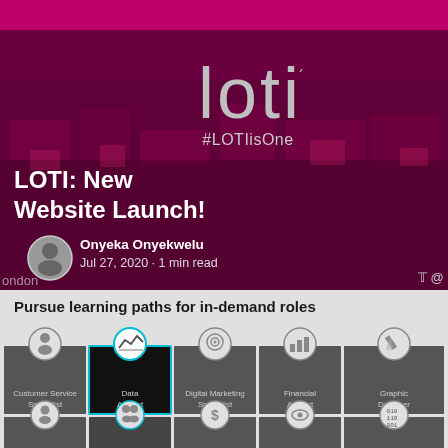[Figure (photo): Hero banner with dark magenta/maroon aerial city background overlay, showing LOTI logo in large grey text, #LOTIisOne hashtag, and article title 'LOTI: New Website Launch!' in white bold text]
LOTI: New Website Launch!
Onyeka Onyekwelu
Jul 27, 2020 · 1 min read
Pursue learning paths for in-demand roles
[Figure (screenshot): Screenshot showing a learning platform UI with role cards: Customer Service Specialist, Data Analyst (active/selected with teal border), Digital Marketing Specialist, Financial Analyst, Graphic Designer, and a second row of partially visible cards]